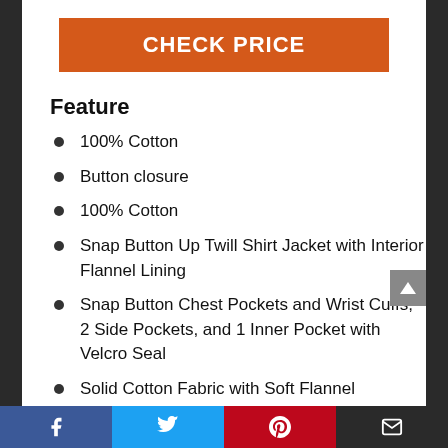CHECK PRICE
Feature
100% Cotton
Button closure
100% Cotton
Snap Button Up Twill Shirt Jacket with Interior Flannel Lining
Snap Button Chest Pockets and Wrist Cuffs, 2 Side Pockets, and 1 Inner Pocket with Velcro Seal
Solid Cotton Fabric with Soft Flannel